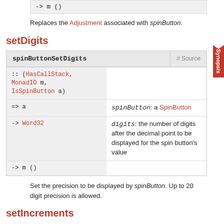-> m ()
Replaces the Adjustment associated with spinButton.
setDigits
spinButtonSetDigits  # Source
:: (HasCallStack, MonadIO m, IsSpinButton a) => a  spinButton: a SpinButton -> Word32  digits: the number of digits after the decimal point to be displayed for the spin button's value -> m ()
Set the precision to be displayed by spinButton. Up to 20 digit precision is allowed.
setIncrements